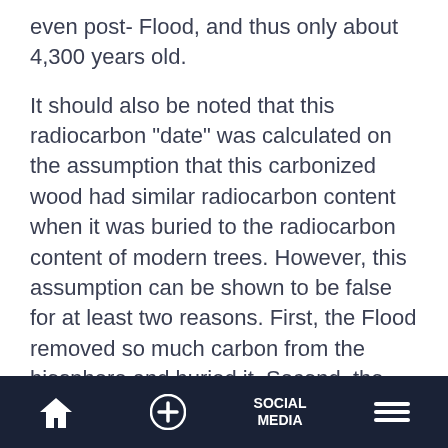even post- Flood, and thus only about 4,300 years old.
It should also be noted that this radiocarbon "date" was calculated on the assumption that this carbonized wood had similar radiocarbon content when it was buried to the radiocarbon content of modern trees. However, this assumption can be shown to be false for at least two reasons. First, the Flood removed so much carbon from the biosphere and buried it. Second, the earth's magnetic field was
Home | + | SOCIAL MEDIA | Menu